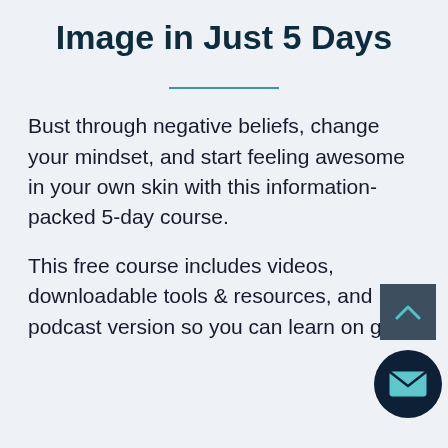Image in Just 5 Days
Bust through negative beliefs, change your mindset, and start feeling awesome in your own skin with this information-packed 5-day course.
This free course includes videos, downloadable tools & resources, and podcast version so you can learn on go.